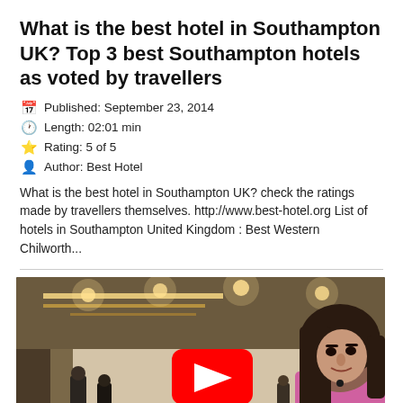What is the best hotel in Southampton UK? Top 3 best Southampton hotels as voted by travellers
Published: September 23, 2014
Length: 02:01 min
Rating: 5 of 5
Author: Best Hotel
What is the best hotel in Southampton UK? check the ratings made by travellers themselves. http://www.best-hotel.org List of hotels in Southampton United Kingdom : Best Western Chilworth...
[Figure (screenshot): Video thumbnail showing a woman in a pink top standing in a hotel lobby with other people in the background. A red YouTube play button is centered on the image.]